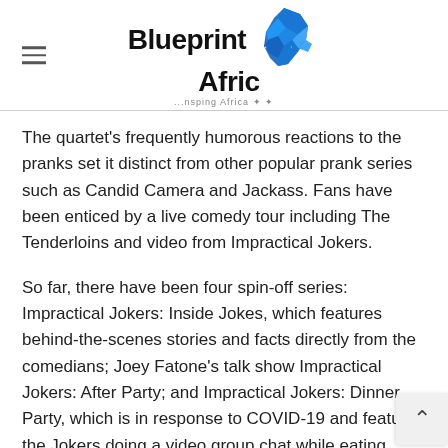Blueprint Afric - Inspiring Africa
The quartet's frequently humorous reactions to the pranks set it distinct from other popular prank series such as Candid Camera and Jackass. Fans have been enticed by a live comedy tour including The Tenderloins and video from Impractical Jokers.
So far, there have been four spin-off series: Impractical Jokers: Inside Jokes, which features behind-the-scenes stories and facts directly from the comedians; Joey Fatone's talk show Impractical Jokers: After Party; and Impractical Jokers: Dinner Party, which is in response to COVID-19 and featu the Jokers doing a video group chat while eating dinner and having various activities...